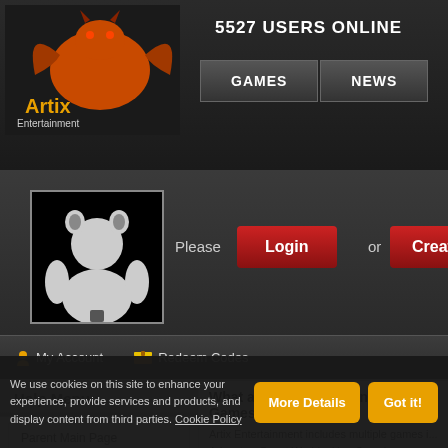5527 USERS ONLINE
[Figure (logo): Artix Entertainment logo with dragon]
GAMES   NEWS
[Figure (illustration): Default player avatar silhouette on black background]
Please Login or Create you
My Account   Redeem Codes
Help Menu
Parent Main Page
Educational Benefits
Player Safety
Protecting Privacy
What are Artix Entertainment Games
Artix Entertainment includes multiple games i... AdventureQuest Worlds, HeroSmash, EpicDu... MechQuest are single player roleplaying gam... EpicDuel and OverSoul are massively multip... computer's browser. We also have multiple m... AdventureQuest which is called WarpForce! ... full of excitement and adventure. Players can... The games are updated continuously with ne... are free to play. We do offer special optional
We use cookies on this site to enhance your experience, provide services and products, and display content from third parties. Cookie Policy